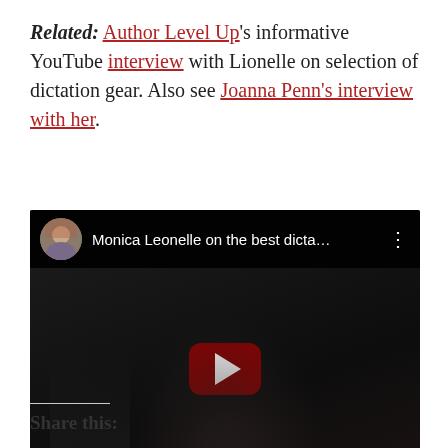Related: Author Level Up's informative YouTube interview with Lionelle on selection of dictation gear. Also see Joanna Penn's interview with her.
[Figure (screenshot): Embedded YouTube video thumbnail showing Monica Leonelle on the best dicta... with a play button overlay. Top bar shows a circular avatar photo and video title.]
Share this: